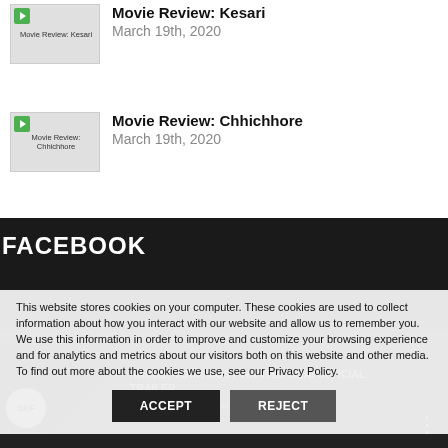[Figure (screenshot): Thumbnail image for Movie Review: Kesari article]
Movie Review: Kesari
March 19th, 2020
[Figure (screenshot): Thumbnail image for Movie Review: Chhichhore article]
Movie Review: Chhichhore
March 19th, 2020
FACEBOOK
[Figure (screenshot): Video thumbnail for Radhe: Your Most Wanted Bhai Official Trailer with SKF badge]
RADHE: YOUR MOST WANTED BHAI OFFICIAL TRAILER
Radhe: Your Most Wanted Bhai | Offic...
This website stores cookies on your computer. These cookies are used to collect information about how you interact with our website and allow us to remember you. We use this information in order to improve and customize your browsing experience and for analytics and metrics about our visitors both on this website and other media. To find out more about the cookies we use, see our Privacy Policy.
ACCEPT
REJECT